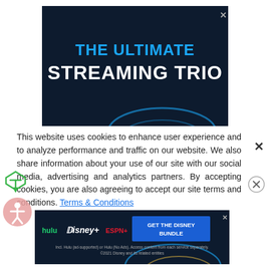[Figure (screenshot): Dark navy blue advertisement banner reading 'THE ULTIMATE STREAMING TRIO' with blue and white bold text, with an X close button in the corner]
This website uses cookies to enhance user experience and to analyze performance and traffic on our website. We also share information about your use of our site with our social media, advertising and analytics partners. By accepting cookies, you are also agreeing to accept our site terms and conditions. Terms & Conditions
[Figure (screenshot): Dark navy advertisement banner with Hulu, Disney+, ESPN+ logos and 'GET THE DISNEY BUNDLE' button. Fine print: Incl. Hulu (ad-supported) or Hulu (No Ads). Access content from each service separately. ©2021 Disney and its related entities]